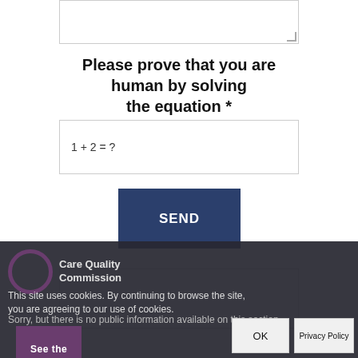[Figure (screenshot): A text area input box, partially visible at top of page]
Please prove that you are human by solving the equation *
1 + 2 = ?
SEND
[Figure (screenshot): Partially visible input/content box at bottom]
[Figure (logo): Care Quality Commission logo — purple circle with CQC text]
This site uses cookies. By continuing to browse the site, you are agreeing to our use of cookies.
Sorry, but there is no public information available on this section.
See the
OK
Privacy Policy